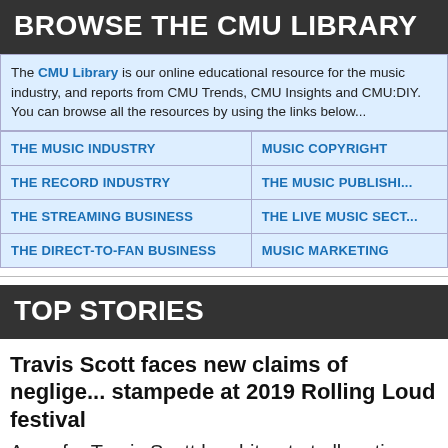BROWSE THE CMU LIBRARY
The CMU Library is our online educational resource for the music industry, and reports from CMU Trends, CMU Insights and CMU:DIY. You can browse all the resources by using the links below...
| THE MUSIC INDUSTRY | MUSIC COPYRIGHT |
| THE RECORD INDUSTRY | THE MUSIC PUBLISHING |
| THE STREAMING BUSINESS | THE LIVE MUSIC SECT |
| THE DIRECT-TO-FAN BUSINESS | MUSIC MARKETING |
TOP STORIES
Travis Scott faces new claims of negligence stampede at 2019 Rolling Loud festival
A rep for Travis Scott has hit out at allegations against the rapper in a new legal filing in relation to a stampede that occurred at the 2019 edition...